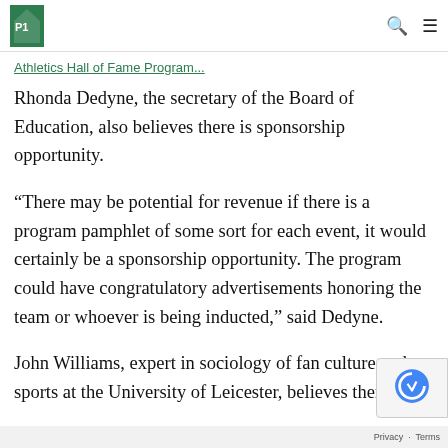[Logo] [Search icon] [Menu icon]
Athletics Hall of Fame Program
Rhonda Dedyne, the secretary of the Board of Education, also believes there is sponsorship opportunity.
“There may be potential for revenue if there is a program pamphlet of some sort for each event, it would certainly be a sponsorship opportunity. The program could have congratulatory advertisements honoring the team or whoever is being inducted,” said Dedyne.
John Williams, expert in sociology of fan culture and sports at the University of Leicester, believes there are